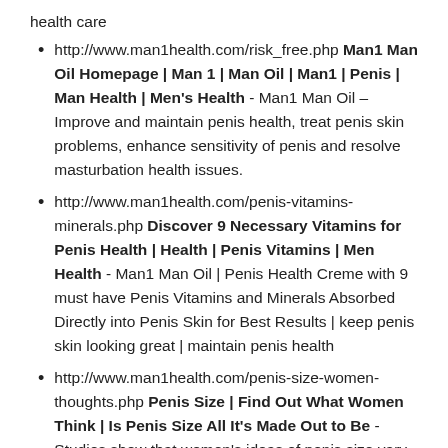health care
http://www.man1health.com/risk_free.php Man1 Man Oil Homepage | Man 1 | Man Oil | Man1 | Penis | Man Health | Men's Health - Man1 Man Oil – Improve and maintain penis health, treat penis skin problems, enhance sensitivity of penis and resolve masturbation health issues.
http://www.man1health.com/penis-vitamins-minerals.php Discover 9 Necessary Vitamins for Penis Health | Health | Penis Vitamins | Men Health - Man1 Man Oil | Penis Health Creme with 9 must have Penis Vitamins and Minerals Absorbed Directly into Penis Skin for Best Results | keep penis skin looking great | maintain penis health
http://www.man1health.com/penis-size-women-thoughts.php Penis Size | Find Out What Women Think | Is Penis Size All It's Made Out to Be - Studies show that women's ideas of penis size vary from woman to woman and country to country | How big is big | How small is too small | Over 7,000 women were asked